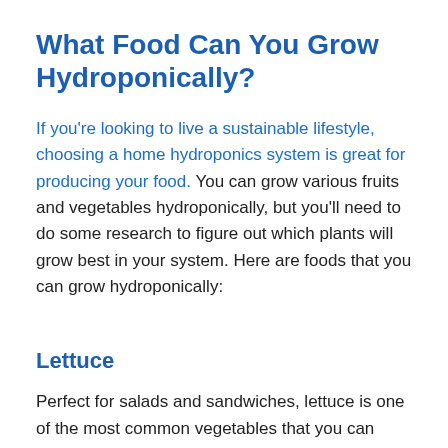What Food Can You Grow Hydroponically?
If you're looking to live a sustainable lifestyle, choosing a home hydroponics system is great for producing your food. You can grow various fruits and vegetables hydroponically, but you'll need to do some research to figure out which plants will grow best in your system. Here are foods that you can grow hydroponically:
Lettuce
Perfect for salads and sandwiches, lettuce is one of the most common vegetables that you can grow in your indoor hydroponics system. Lettuce has fast growth, and caring for them is quite easy. You can grow this vegetable in any kind of